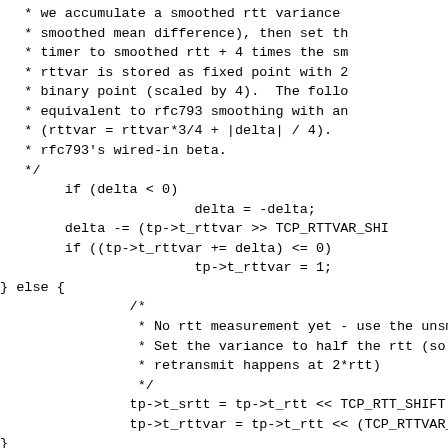Source code fragment showing TCP RTT variance smoothing logic in C, including comments and code for delta calculation, rttvar update, else branch for no rtt measurement, and final assignments for t_rtt, t_rxtshift, with a trailing comment about retransmit timing.